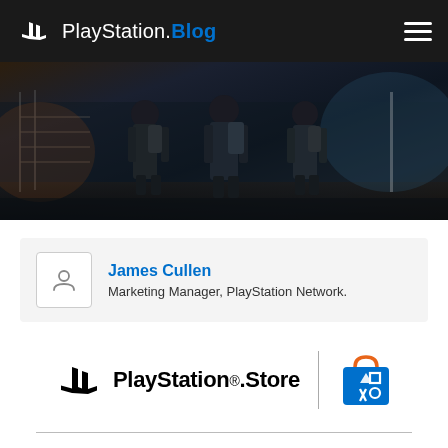PlayStation.Blog
[Figure (photo): Dark cinematic image showing three armored soldiers/agents from behind, walking through an urban post-apocalyptic environment with fencing and debris.]
James Cullen
Marketing Manager, PlayStation Network.
[Figure (logo): PlayStation Store logo with PlayStation symbol, wordmark 'PlayStation.Store', a vertical divider, and a blue PlayStation shopping bag icon with triangle, circle, X, square symbols.]
Jogos de PS4